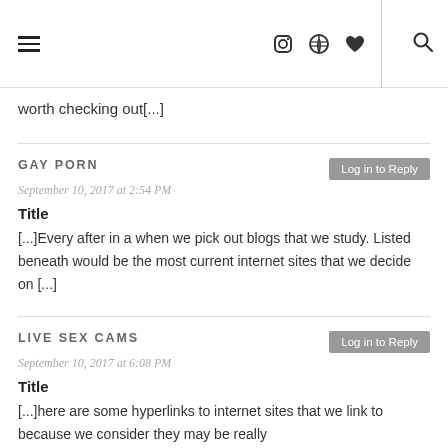≡ [icons: instagram, pinterest, heart] | [search]
worth checking out[...]
GAY PORN
September 10, 2017 at 2:54 PM
Title
[...]Every after in a when we pick out blogs that we study. Listed beneath would be the most current internet sites that we decide on [...]
LIVE SEX CAMS
September 10, 2017 at 6:08 PM
Title
[...]here are some hyperlinks to internet sites that we link to because we consider they may be really